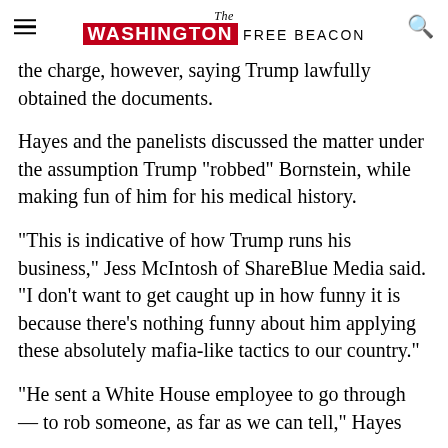The Washington Free Beacon
the charge, however, saying Trump lawfully obtained the documents.
Hayes and the panelists discussed the matter under the assumption Trump "robbed" Bornstein, while making fun of him for his medical history.
"This is indicative of how Trump runs his business," Jess McIntosh of ShareBlue Media said. "I don't want to get caught up in how funny it is because there's nothing funny about him applying these absolutely mafia-like tactics to our country."
"He sent a White House employee to go through — to rob someone, as far as we can tell," Hayes